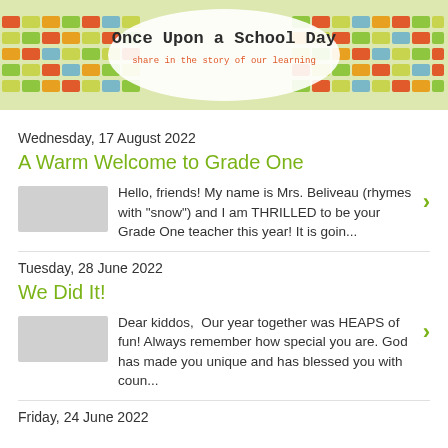[Figure (illustration): Colorful tiled mosaic banner header with an oval in the center containing the blog title 'Once Upon a School Day' and subtitle 'share in the story of our learning']
Once Upon a School Day
share in the story of our learning
Wednesday, 17 August 2022
A Warm Welcome to Grade One
Hello, friends! My name is Mrs. Beliveau (rhymes with "snow") and I am THRILLED to be your Grade One teacher this year! It is goin...
Tuesday, 28 June 2022
We Did It!
Dear kiddos,  Our year together was HEAPS of fun! Always remember how special you are. God has made you unique and has blessed you with coun...
Friday, 24 June 2022